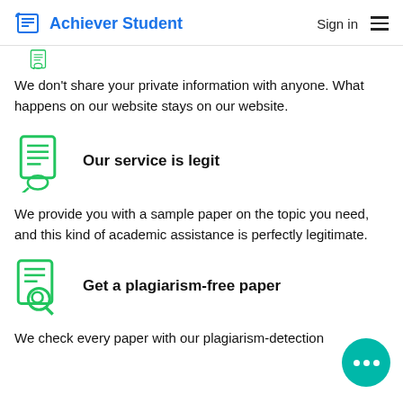Achiever Student — Sign in
[Figure (logo): Green document/paper icon (partially visible at top)]
We don't share your private information with anyone. What happens on our website stays on our website.
[Figure (illustration): Green document with lines and certificate seal icon]
Our service is legit
We provide you with a sample paper on the topic you need, and this kind of academic assistance is perfectly legitimate.
[Figure (illustration): Green document with magnifying glass/search icon]
Get a plagiarism-free paper
We check every paper with our plagiarism-detection
[Figure (illustration): Teal chat bubble with three dots in bottom right corner]